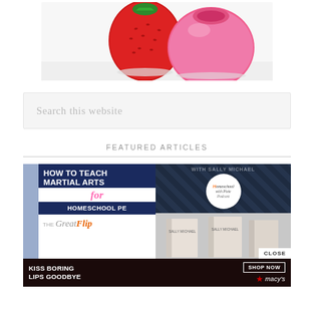[Figure (photo): Strawberry and pink EOS lip balm product photo on white background]
Search this website
FEATURED ARTICLES
[Figure (photo): How to Teach Martial Arts for Homeschool PE - The GreatFlip article card with navy blue background and pink italic text]
[Figure (photo): Homeschool with Sally Michael podcast card with logo circle and books photo, with CLOSE button]
[Figure (photo): Macy's advertisement banner: KISS BORING LIPS GOODBYE with SHOP NOW button and Macy's star logo]